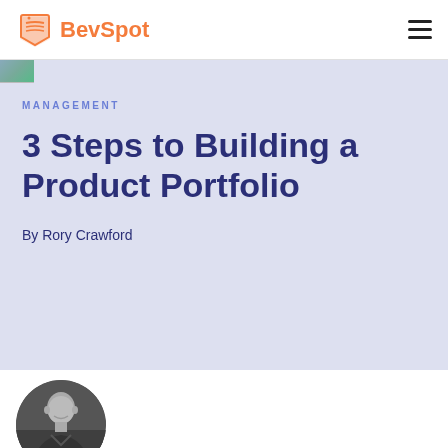BevSpot
MANAGEMENT
3 Steps to Building a Product Portfolio
By Rory Crawford
[Figure (photo): Black and white circular portrait photo of Rory Crawford]